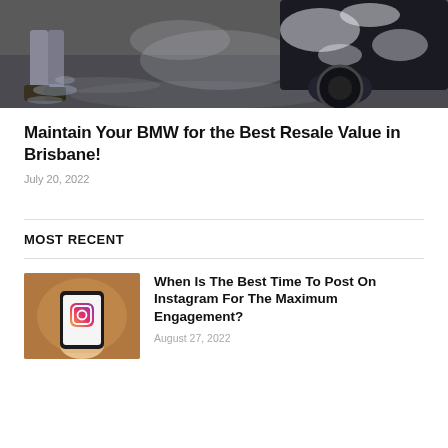[Figure (photo): Person washing a dark car with soap and water, visible boot/shoe and soapy car wheel]
Maintain Your BMW for the Best Resale Value in Brisbane!
July 20, 2022
MOST RECENT
[Figure (photo): Hand holding smartphone displaying Instagram logo on screen]
When Is The Best Time To Post On Instagram For The Maximum Engagement?
August 27, 2022